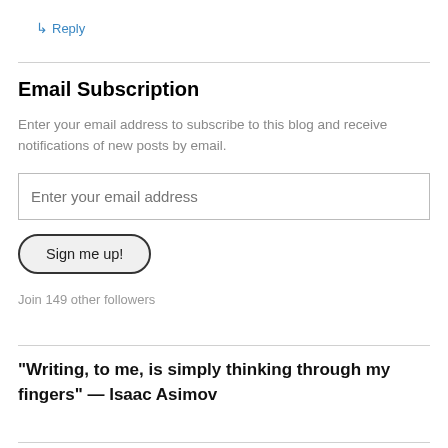↳ Reply
Email Subscription
Enter your email address to subscribe to this blog and receive notifications of new posts by email.
Enter your email address
Sign me up!
Join 149 other followers
“Writing, to me, is simply thinking through my fingers” — Isaac Asimov